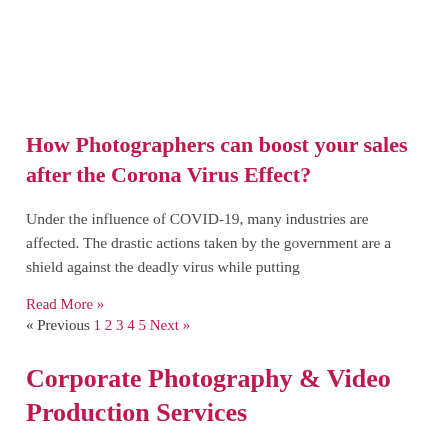How Photographers can boost your sales after the Corona Virus Effect?
Under the influence of COVID-19, many industries are affected. The drastic actions taken by the government are a shield against the deadly virus while putting
Read More »
« Previous 1 2 3 4 5 Next »
Corporate Photography & Video Production Services